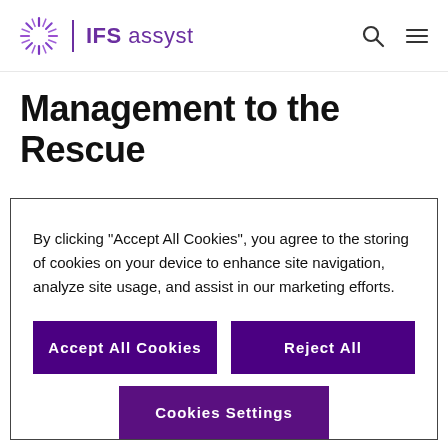IFS assyst
Management to the Rescue
Increasing numbers of organizations are realizing that it's Enterprise Service Management (ESM).
By clicking “Accept All Cookies”, you agree to the storing of cookies on your device to enhance site navigation, analyze site usage, and assist in our marketing efforts.
Accept All Cookies
Reject All
Cookies Settings